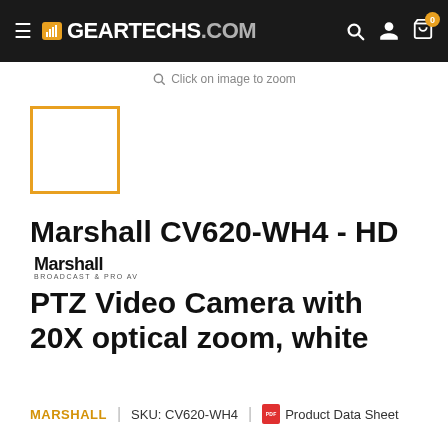Truth Seeker Productions GEARTECHS.COM
Click on image to zoom
[Figure (photo): Product thumbnail placeholder with orange border]
Marshall CV620-WH4 - HD PTZ Video Camera with 20X optical zoom, white
MARSHALL | SKU: CV620-WH4 | Product Data Sheet